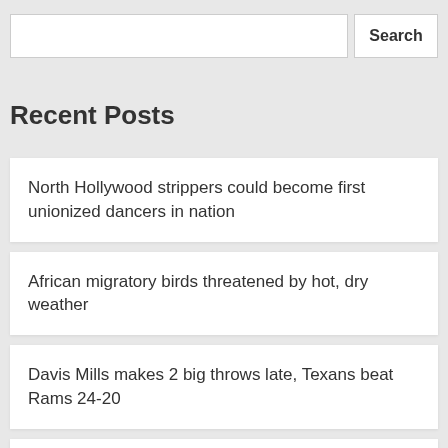Recent Posts
North Hollywood strippers could become first unionized dancers in nation
African migratory birds threatened by hot, dry weather
Davis Mills makes 2 big throws late, Texans beat Rams 24-20
Jones helps Patriots beat Panthers 20-10 in preseason game